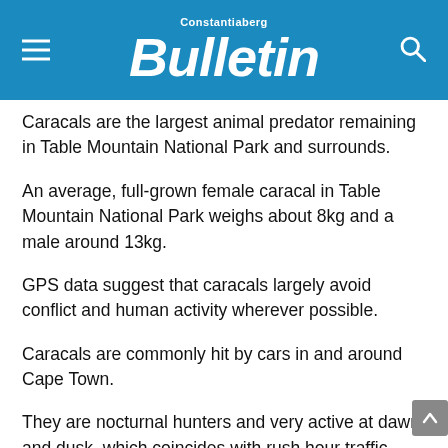Constantiaberg Bulletin
Caracals are the largest animal predator remaining in Table Mountain National Park and surrounds.
An average, full-grown female caracal in Table Mountain National Park weighs about 8kg and a male around 13kg.
GPS data suggest that caracals largely avoid conflict and human activity wherever possible.
Caracals are commonly hit by cars in and around Cape Town.
They are nocturnal hunters and very active at dawn and dusk, which coincides with rush hour traffic during winter months – a problem for caracals if they are more frequently crossing the